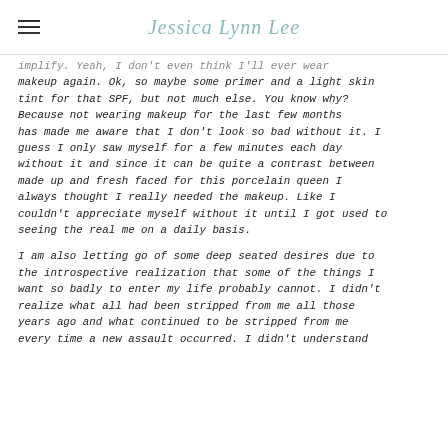Jessica Lynn Lee
implify. Yeah, I don't even think I'll ever wear makeup again. Ok, so maybe some primer and a light skin tint for that SPF, but not much else. You know why? Because not wearing makeup for the last few months has made me aware that I don't look so bad without it. I guess I only saw myself for a few minutes each day without it and since it can be quite a contrast between made up and fresh faced for this porcelain queen I always thought I really needed the makeup. Like I couldn't appreciate myself without it until I got used to seeing the real me on a daily basis.
I am also letting go of some deep seated desires due to the introspective realization that some of the things I want so badly to enter my life probably cannot. I didn't realize what all had been stripped from me all those years ago and what continued to be stripped from me every time a new assault occurred. I didn't understand